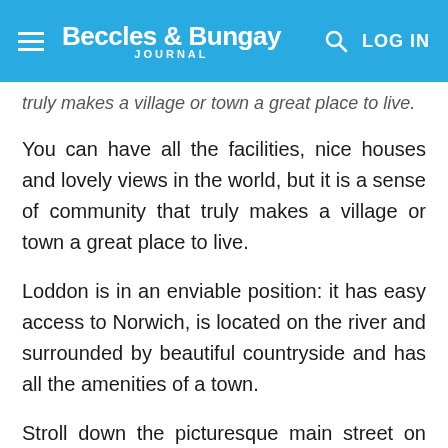Beccles & Bungay Journal — LOG IN
truly makes a village or town a great place to live.
You can have all the facilities, nice houses and lovely views in the world, but it is a sense of community that truly makes a village or town a great place to live.
Loddon is in an enviable position: it has easy access to Norwich, is located on the river and surrounded by beautiful countryside and has all the amenities of a town.
Stroll down the picturesque main street on any day and you'll find it bustling with people going about their business, popping to the butchers or buying the fruit and veg, and there are always plenty of people enjoying a hearty fry-up or a slab of home-made cake in Rosy Lees Tearooms, a focal point for the